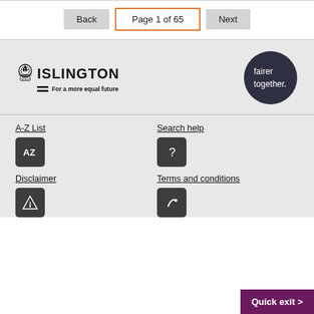Back | Page 1 of 65 | Next
[Figure (logo): Islington Council logo with crest and tagline 'For a more equal future', alongside a circular dark badge reading 'fairer together.']
A-Z List
Search help
Disclaimer
Terms and conditions
Quick exit >